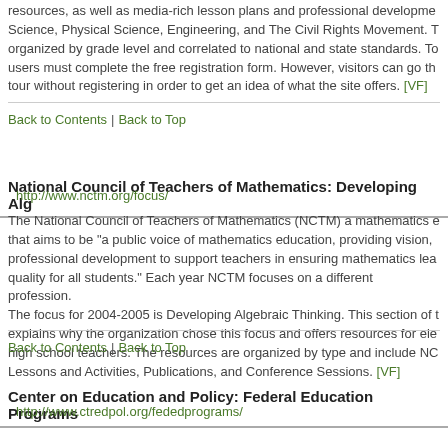resources, as well as media-rich lesson plans and professional development. Science, Physical Science, Engineering, and The Civil Rights Movement. T organized by grade level and correlated to national and state standards. To users must complete the free registration form. However, visitors can go th tour without registering in order to get an idea of what the site offers. [VF]
Back to Contents  |  Back to Top
National Council of Teachers of Mathematics: Developing Alg
http://www.nctm.org/focus/
The National Council of Teachers of Mathematics (NCTM) a mathematics e that aims to be "a public voice of mathematics education, providing vision, professional development to support teachers in ensuring mathematics lea quality for all students." Each year NCTM focuses on a different profession. The focus for 2004-2005 is Developing Algebraic Thinking. This section of t explains why the organization chose this focus and offers resources for ele high school teachers. The resources are organized by type and include NC Lessons and Activities, Publications, and Conference Sessions. [VF]
Back to Contents  |  Back to Top
Center on Education and Policy: Federal Education Programs
http://www.ctredpol.org/fededprograms/